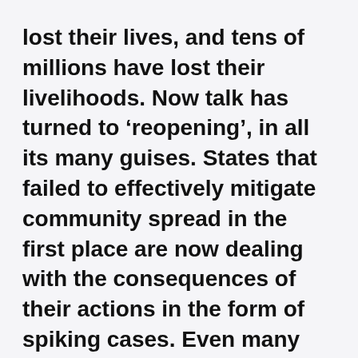lost their lives, and tens of millions have lost their livelihoods. Now talk has turned to ‘reopening’, in all its many guises. States that failed to effectively mitigate community spread in the first place are now dealing with the consequences of their actions in the form of spiking cases. Even many regions that did shut down are now seeing rising infection rates. Yet many businesses are plowing full-force towards ‘reopening’ and getting back to ‘normal’. This contradiction has placed HR departments in a precarious position.
Over the course of this crisis, HR has been saddled with an array of challenging and oftentimes contradictory directives. This remains the case now, as they are tasked with designing plans to simultaneously deny...